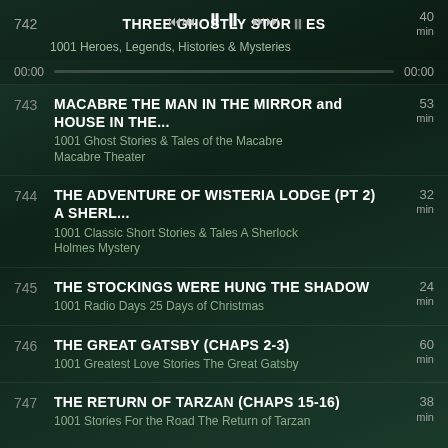742 THREE GHOSTLY STORIES | 1001 Heroes, Legends, Histories & Mysteries | 40 min
743 MACABRE THE MAN IN THE MIRROR and HOUSE IN THE... | 1001 Ghost Stories & Tales of the Macabre Macabre Theater | 53 min
744 THE ADVENTURE OF WISTERIA LODGE (PT 2) A SHERL... | 1001 Classic Short Stories & Tales A Sherlock Holmes Mystery | 32 min
745 THE STOCKINGS WERE HUNG THE SHADOW | 1001 Radio Days 25 Days of Christmas | 24 min
746 THE GREAT GATSBY (CHAPS 2-3) | 1001 Greatest Love Stories The Great Gatsby | 60 min
747 THE RETURN OF TARZAN (CHAPS 15-16) | 1001 Stories For the Road The Return of Tarzan | 38 min